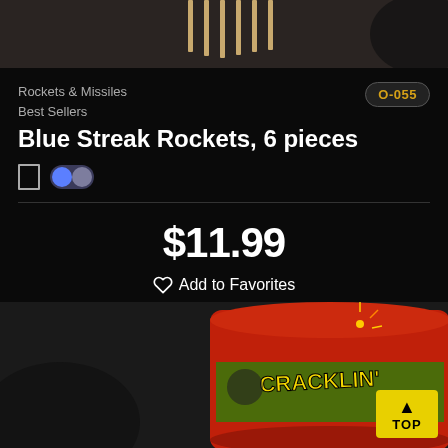[Figure (photo): Top portion of rocket sticks product image on dark brown/gray background]
Rockets & Missiles
Best Sellers
O-055
Blue Streak Rockets, 6 pieces
$11.99
Add to Favorites
[Figure (photo): Cracklin' fireworks product in red packaging — Phantom brand cylindrical cake firework]